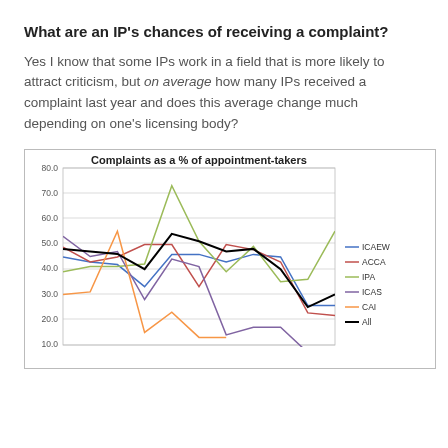What are an IP's chances of receiving a complaint?
Yes I know that some IPs work in a field that is more likely to attract criticism, but on average how many IPs received a complaint last year and does this average change much depending on one's licensing body?
[Figure (line-chart): Complaints as a % of appointment-takers]